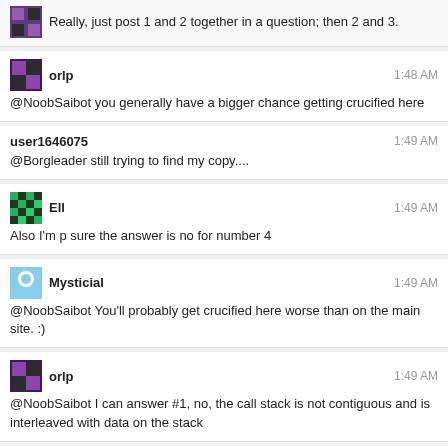Really, just post 1 and 2 together in a question; then 2 and 3.
orlp 1:48 AM
@NoobSaibot you generally have a bigger chance getting crucified here
user1646075 1:49 AM
@Borgleader still trying to find my copy....
Ell 1:49 AM
Also I'm p sure the answer is no for number 4
Mysticial 1:49 AM
@NoobSaibot You'll probably get crucified here worse than on the main site. :)
orlp 1:49 AM
@NoobSaibot I can answer #1, no, the call stack is not contiguous and is interleaved with data on the stack
Nooble 1:49 AM
@NoobSaibot What the...? Well, I have an -le!
Take that.
milleniumbug 1:50 AM
@Borgleader gcsurvey.pdf is interesting in general (available on the net)
orlp 1:51 AM
@NoobSaibot the answer to #2 is "just like data", except that it also updates the base pointer